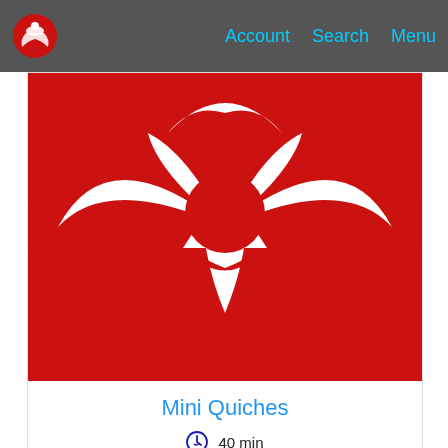Account  Search  Menu
[Figure (logo): Red and white stylized figure/wings logo on dark nav bar]
[Figure (illustration): Large red circular logo with white cutout wing/figure design on white background - recipe card image for Mini Quiches]
Mini Quiches
40 min
Moderate
3 Portions
[Figure (illustration): Red logo with white leaf/petal cutout design and central circle - recipe card image for second recipe]